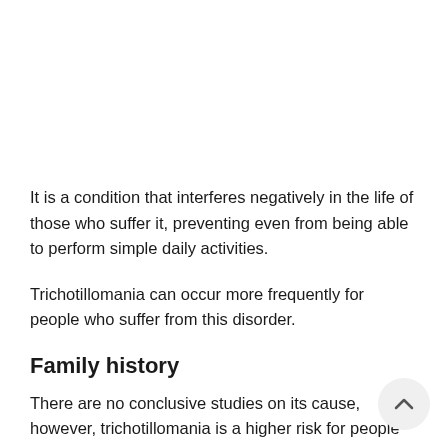It is a condition that interferes negatively in the life of those who suffer it, preventing even from being able to perform simple daily activities.
Trichotillomania can occur more frequently for people who suffer from this disorder.
Family history
There are no conclusive studies on its cause, however, trichotillomania is a higher risk for people who have some